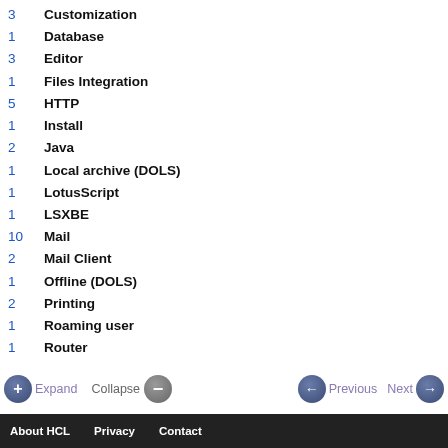3   Customization
1   Database
3   Editor
1   Files Integration
5   HTTP
1   Install
2   Java
1   Local archive (DOLS)
1   LotusScript
1   LSXBE
10  Mail
2   Mail Client
1   Offline (DOLS)
2   Printing
1   Roaming user
1   Router
4   Sametime
1   Save
Expand  Collapse  Previous  Next  |  About HCL  Privacy  Contact